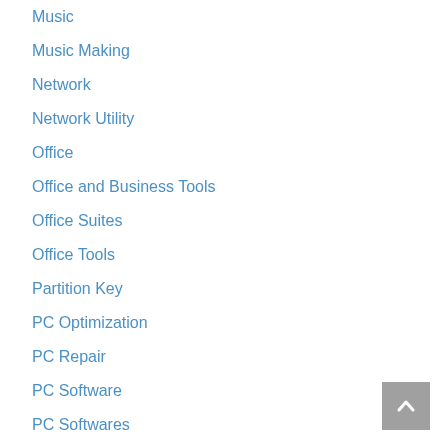Music
Music Making
Network
Network Utility
Office
Office and Business Tools
Office Suites
Office Tools
Partition Key
PC Optimization
PC Repair
PC Software
PC Softwares